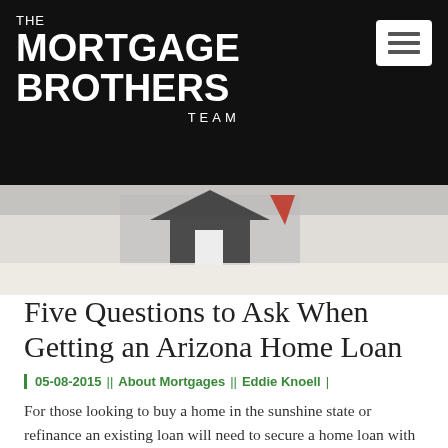[Figure (logo): The Mortgage Brothers Team logo — white text on black background with hamburger menu icon]
[Figure (photo): Hero image of a house model or mortgage-related object on a white surface]
Five Questions to Ask When Getting an Arizona Home Loan
| 05-08-2015 || About Mortgages || Eddie Knoell |
For those looking to buy a home in the sunshine state or refinance an existing loan will need to secure a home loan with a quality lending institution. To help the process along, listed below is a list of ten five